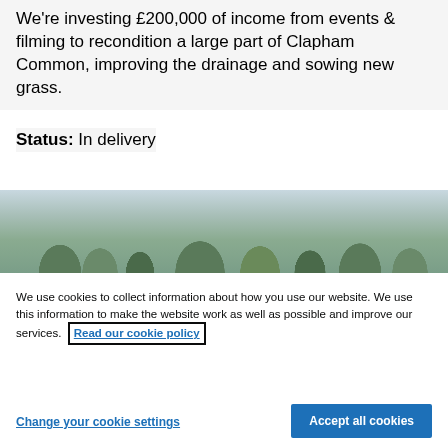We're investing £200,000 of income from events & filming to recondition a large part of Clapham Common, improving the drainage and sowing new grass.
Status: In delivery
[Figure (photo): Photograph of Clapham Common showing trees with bare branches against a grey sky, taken in winter or early spring.]
We use cookies to collect information about how you use our website. We use this information to make the website work as well as possible and improve our services. Read our cookie policy
Change your cookie settings
Accept all cookies